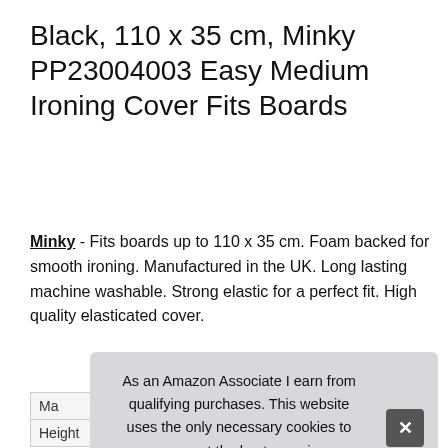Black, 110 x 35 cm, Minky PP23004003 Easy Medium Ironing Cover Fits Boards
Minky - Fits boards up to 110 x 35 cm. Foam backed for smooth ironing. Manufactured in the UK. Long lasting machine washable. Strong elastic for a perfect fit. High quality elasticated cover.
More information
| Ma |  |
| Height | 0.03 cm (0.01 inches) |
As an Amazon Associate I earn from qualifying purchases. This website uses the only necessary cookies to ensure you get the best experience on our website. More information